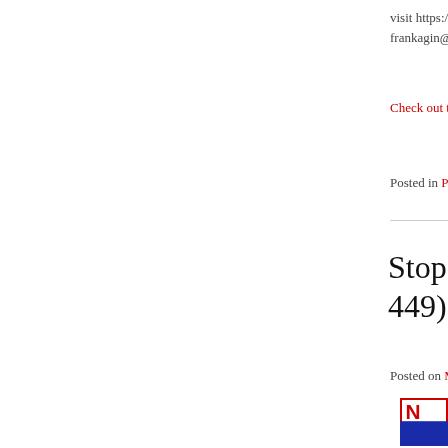visit https://www.ams... frankagin@amspirit....
Check out this episo...
Posted in Podcast |
Stop Pick... 449)
Posted on March 15...
[Figure (logo): Logo with red border containing letter N in red and large letter F in blue on white background]